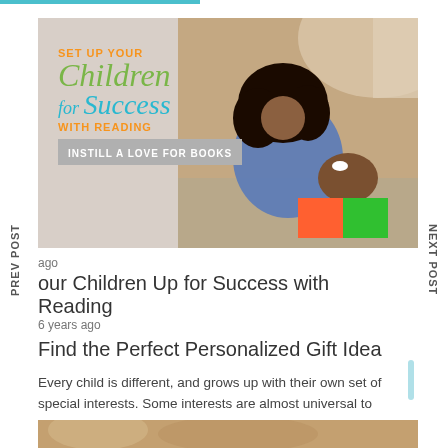[Figure (illustration): Blog post banner image: 'Set Up Your Children for Success with Reading — Instill a Love for Books' with green and teal stylized text on the left, and a photo of a mother reading with her young child on the right.]
ago
our Children Up for Success with Reading
6 years ago
Find the Perfect Personalized Gift Idea
Every child is different, and grows up with their own set of special interests. Some interests are almost universal to childhood—dinosaurs, ...